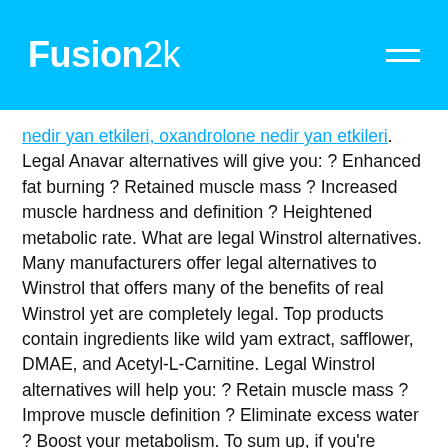Fusion2k
nedir yan etkileri, oxandrolone nedir yan etkileri. Legal Anavar alternatives will give you: ? Enhanced fat burning ? Retained muscle mass ? Increased muscle hardness and definition ? Heightened metabolic rate. What are legal Winstrol alternatives. Many manufacturers offer legal alternatives to Winstrol that offers many of the benefits of real Winstrol yet are completely legal. Top products contain ingredients like wild yam extract, safflower, DMAE, and Acetyl-L-Carnitine. Legal Winstrol alternatives will help you: ? Retain muscle mass ? Improve muscle definition ? Eliminate excess water ? Boost your metabolism. To sum up, if you're looking to hold onto your muscle gains while getting your body ready for the beach, stacking legal Anavar and Winstrol steroid alternatives is a winning combination. While illegal anabolic steroids can provide big short-term gains, they are rarely worth the long-term pain.